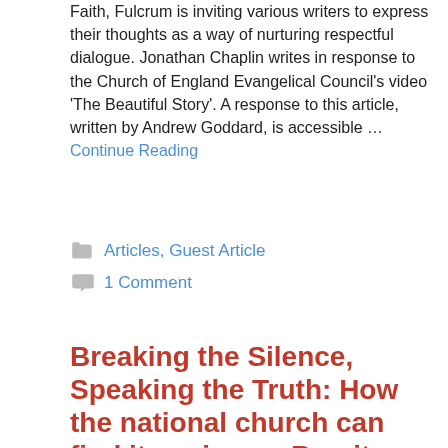Faith, Fulcrum is inviting various writers to express their thoughts as a way of nurturing respectful dialogue. Jonathan Chaplin writes in response to the Church of England Evangelical Council's video 'The Beautiful Story'. A response to this article, written by Andrew Goddard, is accessible … Continue Reading
Articles, Guest Article
1 Comment
Breaking the Silence, Speaking the Truth: How the national church can find its voice on Brexit
July 5, 2019 by Jonathan Chaplin